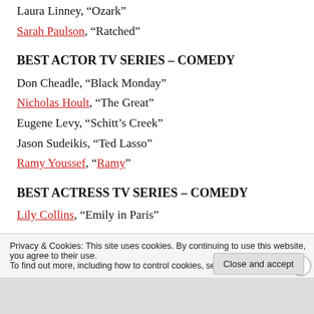Laura Linney, “Ozark”
Sarah Paulson, “Ratched”
BEST ACTOR TV SERIES – COMEDY
Don Cheadle, “Black Monday”
Nicholas Hoult, “The Great”
Eugene Levy, “Schitt’s Creek”
Jason Sudeikis, “Ted Lasso”
Ramy Youssef, “Ramy”
BEST ACTRESS TV SERIES – COMEDY
Lily Collins, “Emily in Paris”
Privacy & Cookies: This site uses cookies. By continuing to use this website, you agree to their use.
To find out more, including how to control cookies, see here: Cookie Policy